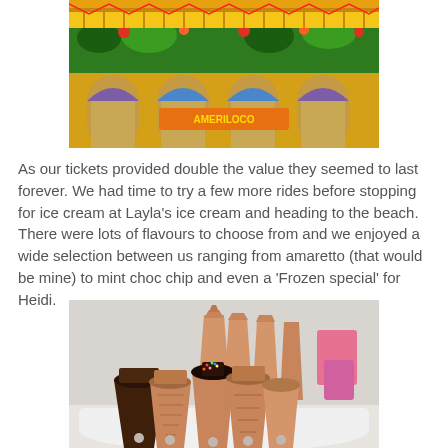[Figure (photo): Colorful fairground or amusement park building exterior with tropical, jungle-themed decorations in vivid greens, yellows, and reds, with arched windows and festive banners.]
As our tickets provided double the value they seemed to last forever. We had time to try a few more rides before stopping for ice cream at Layla's ice cream and heading to the beach. There were lots of flavours to choose from and we enjoyed a wide selection between us ranging from amaretto (that would be mine) to mint choc chip and even a 'Frozen special' for Heidi.
[Figure (photo): A display rack holding multiple waffle ice cream cones of various sizes and types, including chocolate-dipped and sprinkle-coated cones, arranged on a curved white holder.]